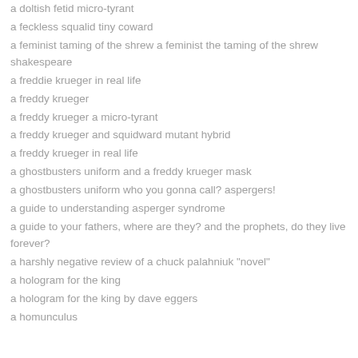a doltish fetid micro-tyrant
a feckless squalid tiny coward
a feminist taming of the shrew a feminist the taming of the shrew shakespeare
a freddie krueger in real life
a freddy krueger
a freddy krueger a micro-tyrant
a freddy krueger and squidward mutant hybrid
a freddy krueger in real life
a ghostbusters uniform and a freddy krueger mask
a ghostbusters uniform who you gonna call? aspergers!
a guide to understanding asperger syndrome
a guide to your fathers, where are they? and the prophets, do they live forever?
a harshly negative review of a chuck palahniuk "novel"
a hologram for the king
a hologram for the king by dave eggers
a homunculus